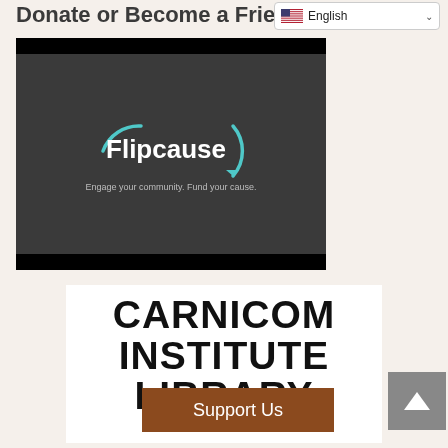Donate or Become a Friend
[Figure (logo): Flipcause logo on dark background with tagline: Engage your community. Fund your cause.]
CARNICOM INSTITUTE LIBRARY
Support Us
[Figure (other): Scroll to top arrow button (up arrow on grey background)]